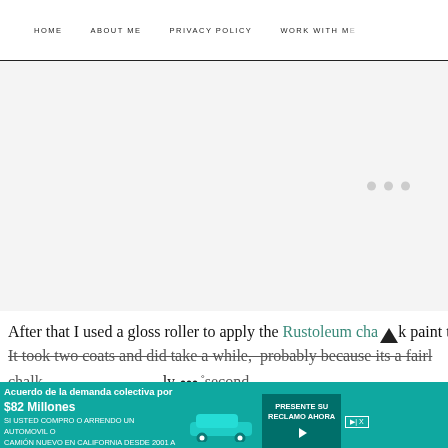HOME   ABOUT ME   PRIVACY POLICY   WORK WITH ME
[Figure (other): Advertisement placeholder area with three grey dots on the right side indicating a loading or carousel indicator]
After that I used a gloss roller to apply the Rustoleum chalk paint to
It took two coats and did take a while, probably because its a fairl chalk                                              ly second
[Figure (other): Advertisement banner in teal/green color: 'Acuerdo de la demanda colectiva por $82 Millones SI USTED COMPRO O ARRENDO UN AUTOMOVIL O CAMION NUEVO EN CALIFORNIA DESDE 2001 A 2003' with a car image and 'PRESENTE SU RECLAMO AHORA' button]